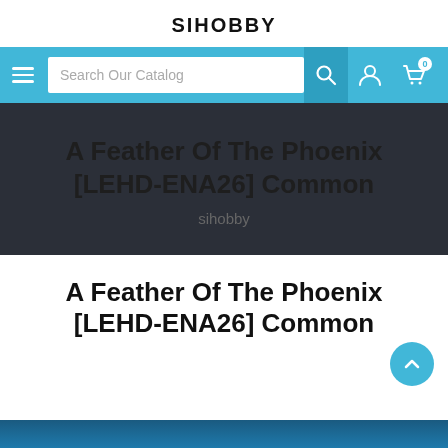SIHOBBY
[Figure (screenshot): Navigation bar with hamburger menu, search field 'Search Our Catalog', search icon button, account icon, and cart icon with badge '0' on a blue background]
A Feather Of The Phoenix [LEHD-ENA26] Common
sihobby
A Feather Of The Phoenix [LEHD-ENA26] Common
[Figure (photo): Bottom portion of a product image with blue tones, partially visible]